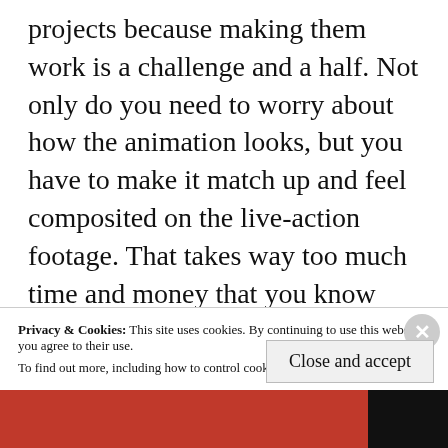projects because making them work is a challenge and a half. Not only do you need to worry about how the animation looks, but you have to make it match up and feel composited on the live-action footage. That takes way too much time and money that you know studios will want to not invest into that much time and effort unless it's a well-known director. Not that it never happens anymore, but it's very rare. When it does happen, it's worth checking out, and when they are able to
Privacy & Cookies: This site uses cookies. By continuing to use this website, you agree to their use.
To find out more, including how to control cookies, see here: Cookie Policy
Close and accept